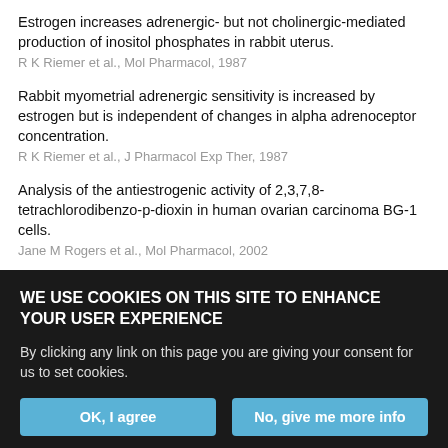Estrogen increases adrenergic- but not cholinergic-mediated production of inositol phosphates in rabbit uterus.
R K Riemer et al., Mol Pharmacol, 1987
Rabbit myometrial adrenergic sensitivity is increased by estrogen but is independent of changes in alpha adrenoceptor concentration.
R K Riemer et al., J Pharmacol Exp Ther, 1987
Analysis of the antiestrogenic activity of 2,3,7,8-tetrachlorodibenzo-p-dioxin in human ovarian carcinoma BG-1 cells.
Jane M Rogers et al., Mol Pharmacol, 2002
G protein-coupled estrogen receptor 1/G protein-coupled receptor 30 localizes in the plasma membrane and traffics intracellularly on cytokeratin intermediate filaments.
Caroline Sandén et al., Mol Pharmacol, 2010
WE USE COOKIES ON THIS SITE TO ENHANCE YOUR USER EXPERIENCE
By clicking any link on this page you are giving your consent for us to set cookies.
OK, I agree | No, give me more info